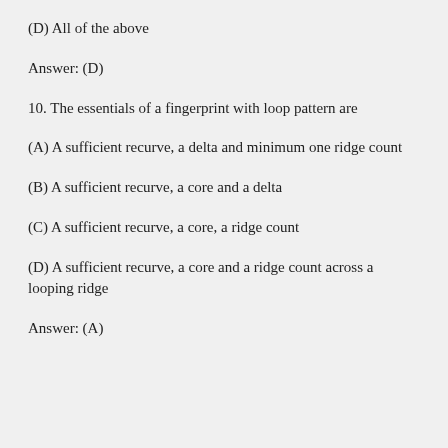(D) All of the above
Answer: (D)
10. The essentials of a fingerprint with loop pattern are
(A) A sufficient recurve, a delta and minimum one ridge count
(B) A sufficient recurve, a core and a delta
(C) A sufficient recurve, a core, a ridge count
(D) A sufficient recurve, a core and a ridge count across a looping ridge
Answer: (A)